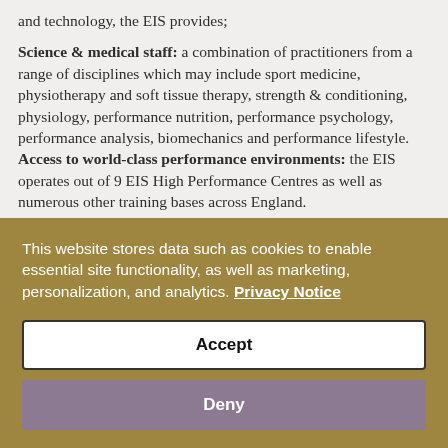and technology, the EIS provides;
Science & medical staff: a combination of practitioners from a range of disciplines which may include sport medicine, physiotherapy and soft tissue therapy, strength & conditioning, physiology, performance nutrition, performance psychology, performance analysis, biomechanics and performance lifestyle. Access to world-class performance environments: the EIS operates out of 9 EIS High Performance Centres as well as numerous other training bases across England. Engineering & technology: equipment, technology and accessories that can be used to support practitioners as
This website stores data such as cookies to enable essential site functionality, as well as marketing, personalization, and analytics. Privacy Notice
Accept
Deny